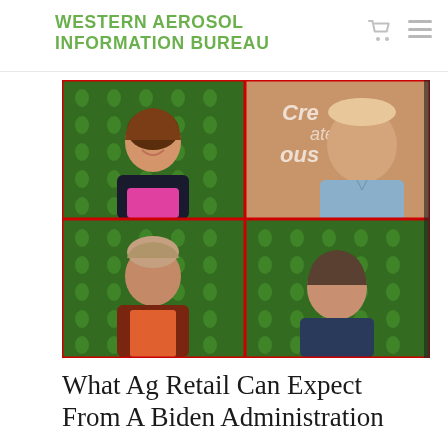WESTERN AEROSOL INFORMATION BUREAU
[Figure (screenshot): A 2x2 video conference grid showing four people: top-left a woman smiling in front of a green branded backdrop with leaf logos, top-right a heavyset man in front of a food/grocery store backdrop with text 'Cre-ate-lous', bottom-left an older man smiling in front of a green branded backdrop, bottom-right a man in front of a green branded backdrop. The grid has a red cross divider.]
What Ag Retail Can Expect From A Biden Administration